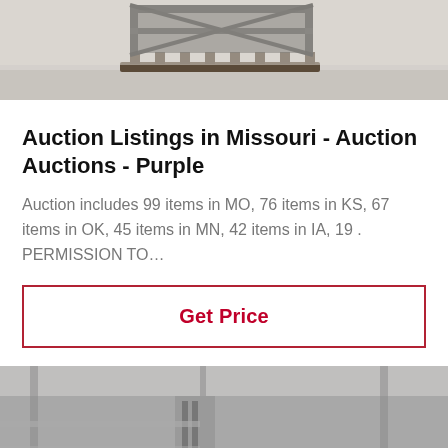[Figure (photo): Black metal industrial equipment/rack on a pallet in a warehouse — top portion of image]
Auction Listings in Missouri - Auction Auctions - Purple
Auction includes 99 items in MO, 76 items in KS, 67 items in OK, 45 items in MN, 42 items in IA, 19 . PERMISSION TO…
Get Price
[Figure (photo): Black and white photo of industrial machinery — cone crushers and heavy equipment inside a large warehouse/factory]